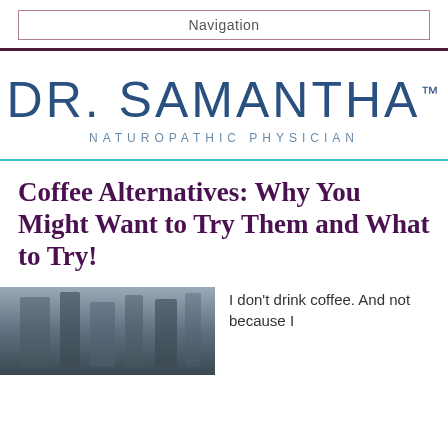Navigation
[Figure (logo): DR. SAMANTHA™ NATUROPATHIC PHYSICIAN logo in blue/steel tones]
Coffee Alternatives: Why You Might Want to Try Them and What to Try!
[Figure (photo): Black and white photo, dark moody tones]
I don't drink coffee. And not because I